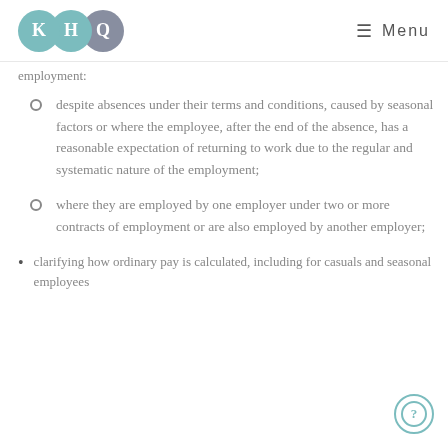KHQ Menu
employment:
despite absences under their terms and conditions, caused by seasonal factors or where the employee, after the end of the absence, has a reasonable expectation of returning to work due to the regular and systematic nature of the employment;
where they are employed by one employer under two or more contracts of employment or are also employed by another employer;
clarifying how ordinary pay is calculated, including for casuals and seasonal employees